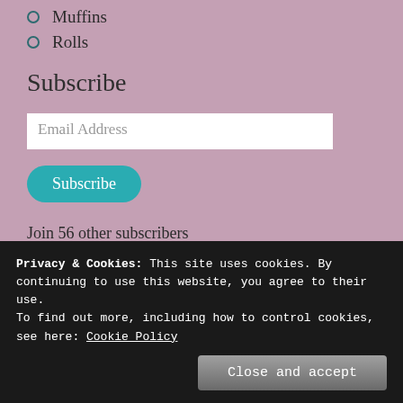Muffins
Rolls
Subscribe
Email Address
Subscribe
Join 56 other subscribers
[Figure (other): Plus symbol inside a dashed circle, on a beige/tan background]
Privacy & Cookies: This site uses cookies. By continuing to use this website, you agree to their use.
To find out more, including how to control cookies, see here: Cookie Policy
Close and accept